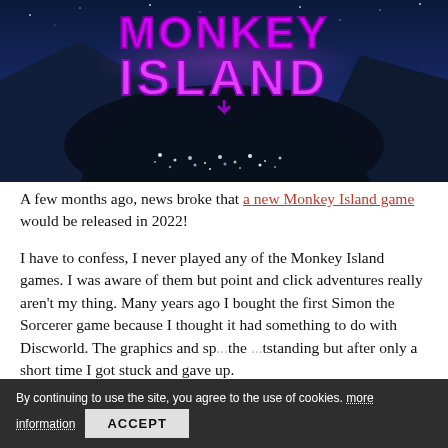[Figure (screenshot): Monkey Island game title screen showing 'MONKEY ISLAND' in pink/magenta stylized text against a dark blue night scene with a volcanic island, twinkling lights at the base, and mountains in the background.]
A few months ago, news broke that a new Monkey Island game would be released in 2022!
I have to confess, I never played any of the Monkey Island games. I was aware of them but point and click adventures really aren't my thing. Many years ago I bought the first Simon the Sorcerer game because I thought it had something to do with Discworld. The graphics and sp... the ...tstanding but after only a short time I got stuck and gave up.